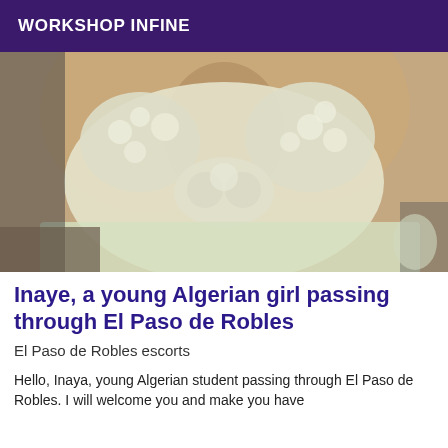WORKSHOP INFINE
[Figure (photo): Close-up photo of a person wearing a cream/white lace bralette or lingerie top, showing décolletage area.]
Inaye, a young Algerian girl passing through El Paso de Robles
El Paso de Robles escorts
Hello, Inaya, young Algerian student passing through El Paso de Robles. I will welcome you and make you have